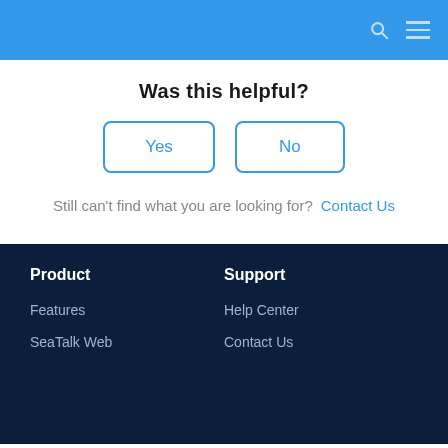[Figure (screenshot): Blue navigation header bar with search icon and hamburger menu icon on the right]
Was this helpful?
Yes | No (buttons)
Still can't find what you are looking for?  Contact Us
Product | Support | Features | Help Center | SeaTalk Web | Contact Us